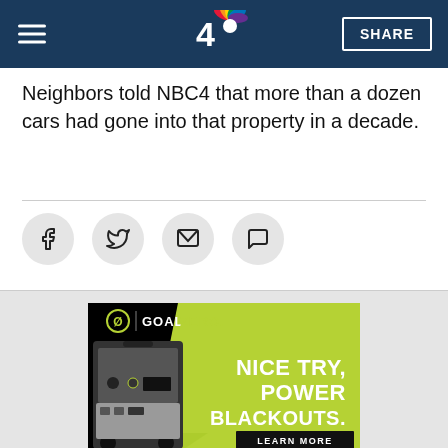NBC 4 | SHARE
Neighbors told NBC4 that more than a dozen cars had gone into that property in a decade.
[Figure (infographic): Social sharing icons: Facebook, Twitter, Email, Comment]
[Figure (infographic): GoalZero advertisement showing a portable power station with text: NICE TRY, POWER BLACKOUTS. LEARN MORE]